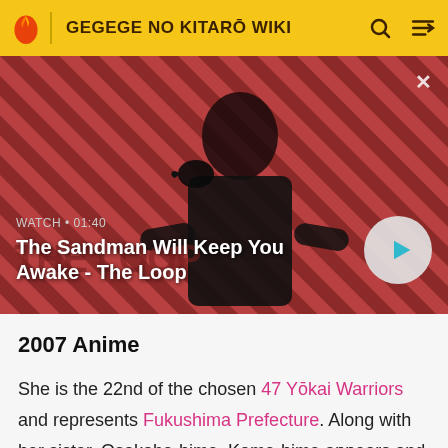GEGEGE NO KITARŌ WIKI
[Figure (screenshot): Video banner showing a dark figure with a raven on shoulder against a red striped background. Title: The Sandman Will Keep You Awake - The Loop. Watch • 01:40]
2007 Anime
She is the 22nd of the chosen 47 Yōkai Warriors and represents Fukushima Prefecture. Along with her sister, Osakabe-hime, Kame-hime appears and becomes one of